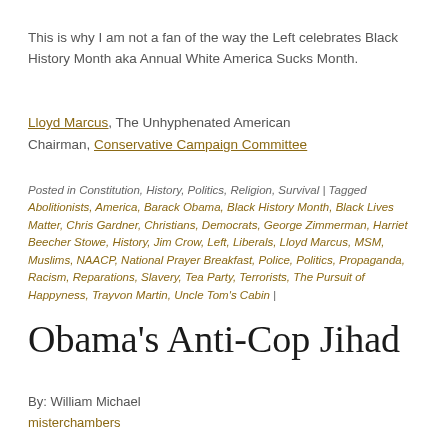This is why I am not a fan of the way the Left celebrates Black History Month aka Annual White America Sucks Month.
Lloyd Marcus, The Unhyphenated American
Chairman, Conservative Campaign Committee
Posted in Constitution, History, Politics, Religion, Survival | Tagged Abolitionists, America, Barack Obama, Black History Month, Black Lives Matter, Chris Gardner, Christians, Democrats, George Zimmerman, Harriet Beecher Stowe, History, Jim Crow, Left, Liberals, Lloyd Marcus, MSM, Muslims, NAACP, National Prayer Breakfast, Police, Politics, Propaganda, Racism, Reparations, Slavery, Tea Party, Terrorists, The Pursuit of Happyness, Trayvon Martin, Uncle Tom's Cabin |
Obama's Anti-Cop Jihad
By: William Michael
misterchambers